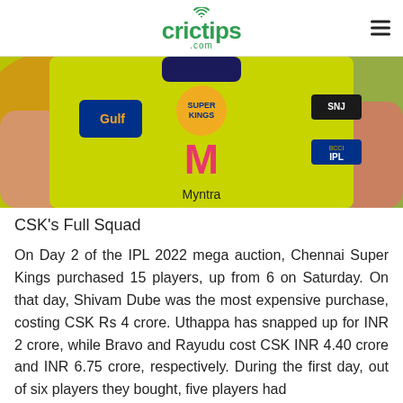crictips .com
[Figure (photo): Close-up photo of a person wearing a Chennai Super Kings (CSK) yellow IPL cricket jersey with Gulf, Myntra, SNJ, and BCCI IPL sponsor logos]
CSK's Full Squad
On Day 2 of the IPL 2022 mega auction, Chennai Super Kings purchased 15 players, up from 6 on Saturday. On that day, Shivam Dube was the most expensive purchase, costing CSK Rs 4 crore. Uthappa has snapped up for INR 2 crore, while Bravo and Rayudu cost CSK INR 4.40 crore and INR 6.75 crore, respectively. During the first day, out of six players they bought, five players had